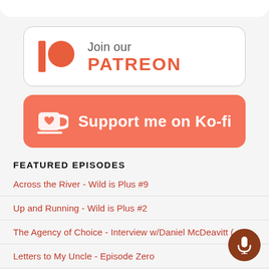[Figure (logo): Patreon button with logo: vertical bar and red circle, text 'Join our PATREON']
[Figure (logo): Ko-fi support button with cup icon: 'Support me on Ko-fi' on coral/red background]
FEATURED EPISODES
Across the River - Wild is Plus #9
Up and Running - Wild is Plus #2
The Agency of Choice - Interview w/Daniel McDeavitt (
Letters to My Uncle - Episode Zero